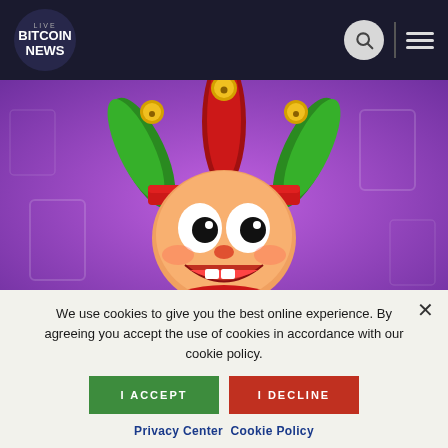LIVE BITCOIN NEWS
[Figure (illustration): Cartoon jester/joker character with red, green and gold hat with bells, smiling face, on purple background with playing card motifs]
We use cookies to give you the best online experience. By agreeing you accept the use of cookies in accordance with our cookie policy.
I ACCEPT
I DECLINE
Privacy Center  Cookie Policy